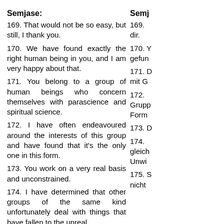Semjase:
169. That would not be so easy, but still, I thank you.
170. We have found exactly the right human being in you, and I am very happy about that.
171. You belong to a group of human beings who concern themselves with parascience and spiritual science.
172. I have often endeavoured around the interests of this group and have found that it's the only one in this form.
173. You work on a very real basis and unconstrained.
174. I have determined that other groups of the same kind unfortunately deal with things that have fallen to the unreal.
175. They often carry out experiments that they themselves can't understand and for which they
Semj
169. dir.
170. gefun
171. mit G
172. Grupp Form
173.
174. gleich Unwi
175. nicht